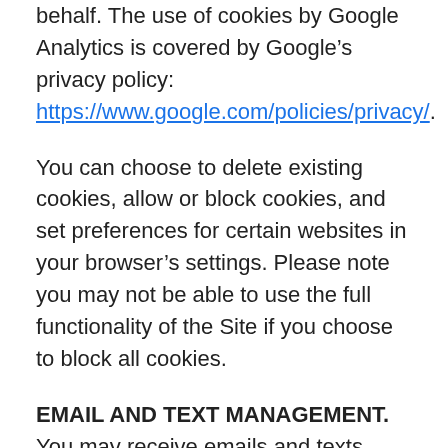behalf. The use of cookies by Google Analytics is covered by Google's privacy policy: https://www.google.com/policies/privacy/.
You can choose to delete existing cookies, allow or block cookies, and set preferences for certain websites in your browser's settings. Please note you may not be able to use the full functionality of the Site if you choose to block all cookies.
EMAIL AND TEXT MANAGEMENT. You may receive emails and texts from Company for a variety of reasons. We respect your desire to manage email and text correspondence. If you have an account with Company on the Site, you can select your preferences through your account settings. You can also manage your receipt